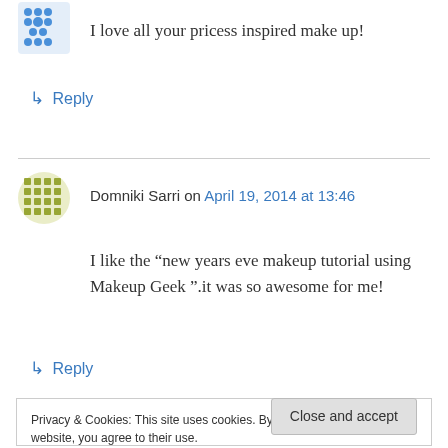I love all your pricess inspired make up!
↳ Reply
Domniki Sarri on April 19, 2014 at 13:46
I like the “new years eve makeup tutorial using Makeup Geek ”.it was so awesome for me!
↳ Reply
Privacy & Cookies: This site uses cookies. By continuing to use this website, you agree to their use.
To find out more, including how to control cookies, see here: Cookie Policy
Close and accept
been watching your videos. They’re amazing!!